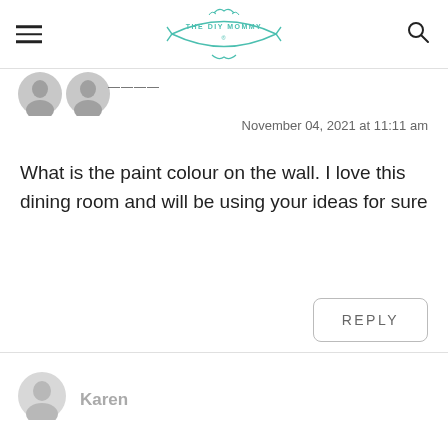The DIY Mommy
[Figure (illustration): Two overlapping grey avatar/user silhouette icons side by side, partially visible at top of comment]
November 04, 2021 at 11:11 am
What is the paint colour on the wall. I love this dining room and will be using your ideas for sure
REPLY
[Figure (illustration): Grey circular avatar with a person silhouette icon for user Karen]
Karen